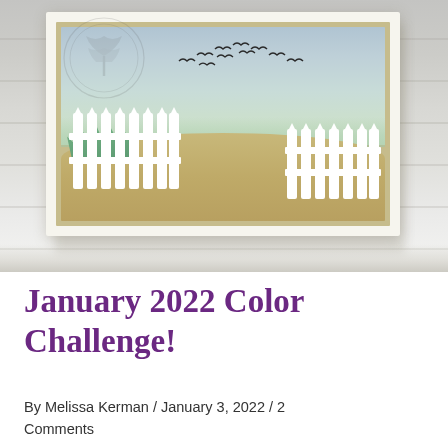[Figure (photo): A handmade greeting card displayed on a white wooden surface. The card features a watercolor sky scene with birds flying in formation, white picket fences on both sides, green grass, and a sandy hill. The card has a tan/gold mat. A faint circular tree logo watermark is visible in the upper left area of the photo.]
January 2022 Color Challenge!
By Melissa Kerman / January 3, 2022 / 2 Comments